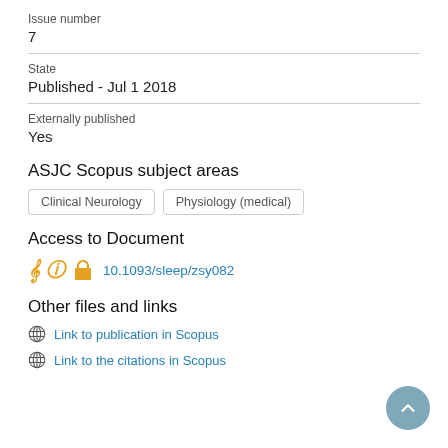Issue number
7
State
Published - Jul 1 2018
Externally published
Yes
ASJC Scopus subject areas
Clinical Neurology
Physiology (medical)
Access to Document
10.1093/sleep/zsy082
Other files and links
Link to publication in Scopus
Link to the citations in Scopus